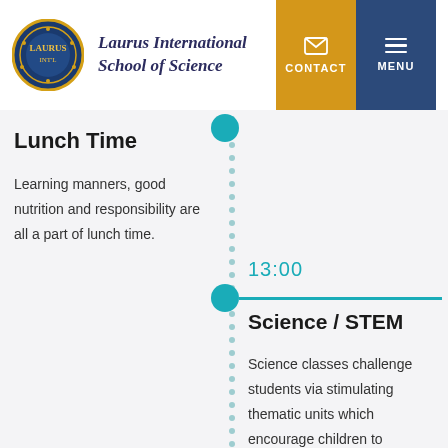Laurus International School of Science
Lunch Time
Learning manners, good nutrition and responsibility are all a part of lunch time.
13:00
Science / STEM
Science classes challenge students via stimulating thematic units which encourage children to hypothesize, experiment and inquire!STEM activities focus on engaging in Project Based learning to connect and